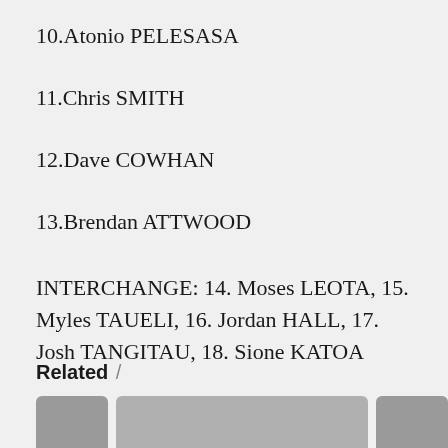10.Atonio PELESASA
11.Chris SMITH
12.Dave COWHAN
13.Brendan ATTWOOD
INTERCHANGE: 14. Moses LEOTA, 15. Myles TAUELI, 16. Jordan HALL, 17. Josh TANGITAU, 18. Sione KATOA
Related /